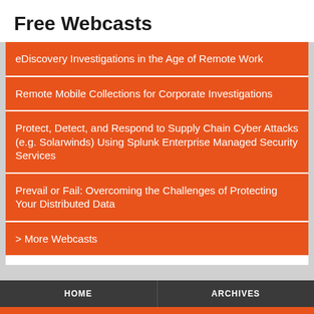Free Webcasts
eDiscovery Investigations in the Age of Remote Work
Remote Mobile Collections for Corporate Investigations
Protect, Detect, and Respond to Supply Chain Cyber Attacks (e.g. Solarwinds) Using Splunk Enterprise Managed Security Services
Prevail or Fail: Overcoming the Challenges of Protecting Your Distributed Data
> More Webcasts
HOME | ARCHIVES